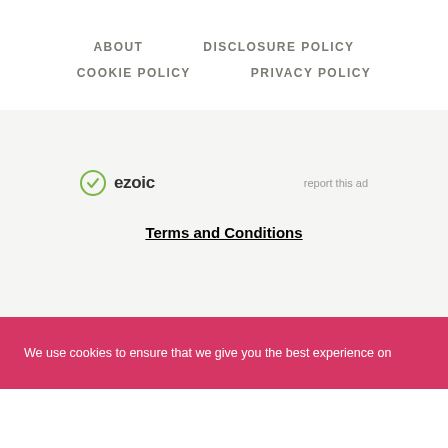ABOUT   DISCLOSURE POLICY   COOKIE POLICY   PRIVACY POLICY
[Figure (logo): Ezoic logo with green circular checkmark icon and 'ezoic' wordmark in bold dark text, alongside 'report this ad' text link]
Terms and Conditions
We use cookies to ensure that we give you the best experience on